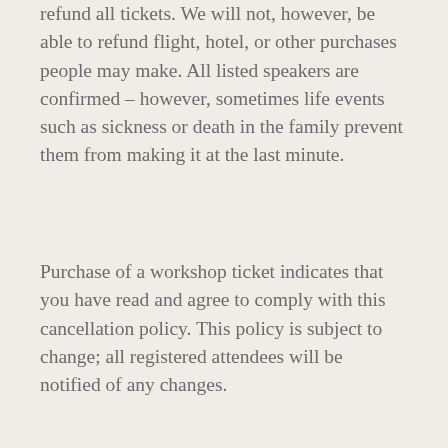refund all tickets. We will not, however, be able to refund flight, hotel, or other purchases people may make. All listed speakers are confirmed – however, sometimes life events such as sickness or death in the family prevent them from making it at the last minute.
Purchase of a workshop ticket indicates that you have read and agree to comply with this cancellation policy. This policy is subject to change; all registered attendees will be notified of any changes.